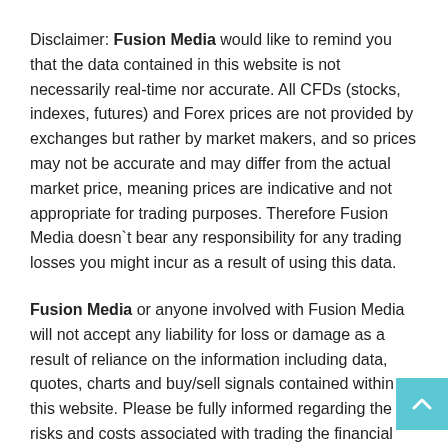Disclaimer: Fusion Media would like to remind you that the data contained in this website is not necessarily real-time nor accurate. All CFDs (stocks, indexes, futures) and Forex prices are not provided by exchanges but rather by market makers, and so prices may not be accurate and may differ from the actual market price, meaning prices are indicative and not appropriate for trading purposes. Therefore Fusion Media doesn`t bear any responsibility for any trading losses you might incur as a result of using this data.
Fusion Media or anyone involved with Fusion Media will not accept any liability for loss or damage as a result of reliance on the information including data, quotes, charts and buy/sell signals contained within this website. Please be fully informed regarding the risks and costs associated with trading the financial markets, it is one of the riskiest investment forms possible.